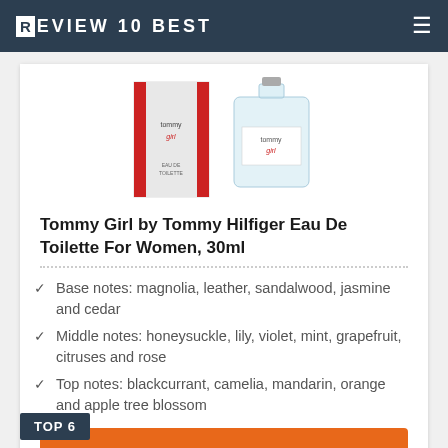REVIEW10BEST
[Figure (photo): Tommy Girl by Tommy Hilfiger fragrance bottle and box, showing the red-striped box and clear glass bottle with red and white label]
Tommy Girl by Tommy Hilfiger Eau De Toilette For Women, 30ml
Base notes: magnolia, leather, sandalwood, jasmine and cedar
Middle notes: honeysuckle, lily, violet, mint, grapefruit, citruses and rose
Top notes: blackcurrant, camelia, mandarin, orange and apple tree blossom
BUY NOW →
TOP 6